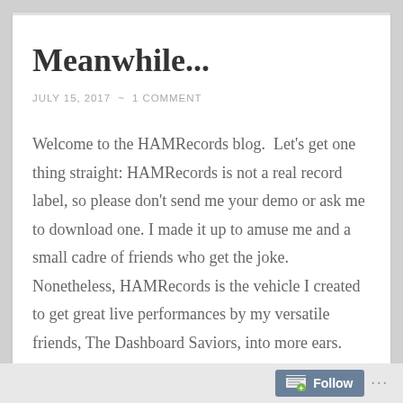Meanwhile...
JULY 15, 2017  ~  1 COMMENT
Welcome to the HAMRecords blog.  Let's get one thing straight: HAMRecords is not a real record label, so please don't send me your demo or ask me to download one. I made it up to amuse me and a small cadre of friends who get the joke. Nonetheless, HAMRecords is the vehicle I created to get great live performances by my versatile friends, The Dashboard Saviors, into more ears. These performances support my belief that The Saviors are a dish best served